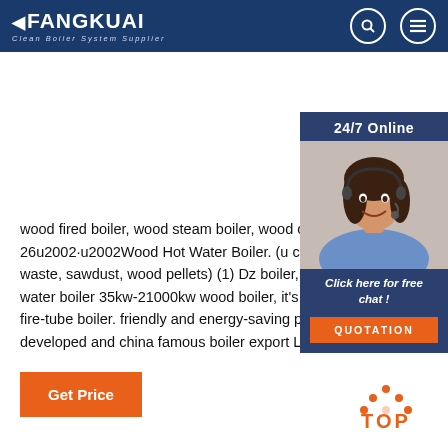FANGKUAI Clean Boiler System Supplier
[Figure (screenshot): 24/7 Online sidebar with customer service representative photo, 'Click here for free chat!' text, and QUOTATION button]
wood fired boiler, wood steam boiler, wood chip 2021-8-26u2002·u2002Wood Hot Water Boiler. (u chips, wood waste, sawdust, wood pellets) (1) Dz boiler, wood fired hot water boiler 35kw-21000kw wood boiler, it's water-tube and fire-tube boiler. friendly and energy-saving product co-developed and china famous boiler export Li Zhiguang.
Get Price
[Figure (illustration): TOP back-to-top icon with orange dots above the word TOP]